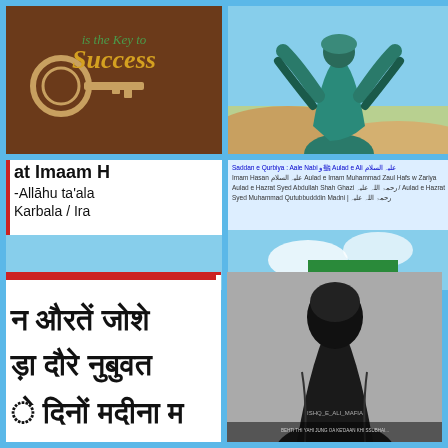[Figure (illustration): Dark brown background with a key image and text 'is the Key to Success' in green and gold script font]
[Figure (illustration): Colorful illustration of a figure in flowing green and teal robes with arms raised, appearing to be praying or gesturing]
[Figure (photo): Text overlay reading 'at Imaam H... -Allaahu ta'ala... Karbala / Ira...' in black on white background, above a photo of a mosque or shrine with ornate arched facade and golden dome]
[Figure (photo): Small text header about 'Saddan e Qurbiya: Aale Nabi...' followed by photo of a green building with arched window and steps, appearing to be a small shrine or tomb]
[Figure (photo): Newspaper clipping with large Hindi/Devanagari text reading partial words about women and Madinah]
[Figure (photo): Black and white photograph of a person in dark robes/niqab, with small text at bottom]